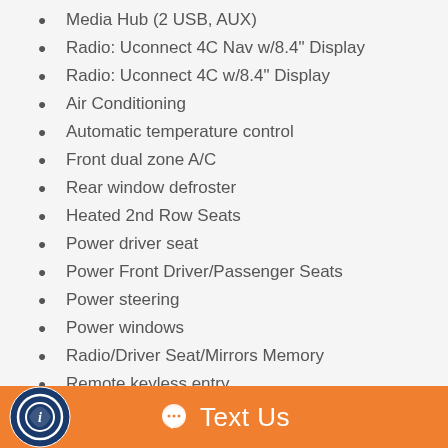Media Hub (2 USB, AUX)
Radio: Uconnect 4C Nav w/8.4" Display
Radio: Uconnect 4C w/8.4" Display
Air Conditioning
Automatic temperature control
Front dual zone A/C
Rear window defroster
Heated 2nd Row Seats
Power driver seat
Power Front Driver/Passenger Seats
Power steering
Power windows
Radio/Driver Seat/Mirrors Memory
Remote keyless entry
Steering wheel mounted audio controls
Flat-Bottom Steering Wheel
Four wheel independent suspension
[Figure (logo): Circular logo icon at bottom left]
Text Us